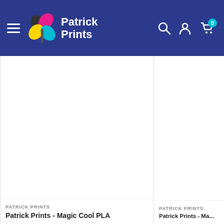[Figure (screenshot): Navigation bar of Patrick Prints website with hamburger menu, logo (colorful clover with Patrick Prints text), search icon, user icon, and cart icon with badge showing 0]
[Figure (photo): Product card left: white/empty product image area for Patrick Prints - Magic Cool PLA]
PATRICK PRINTS
Patrick Prints - Magic Cool PLA
[Figure (photo): Product card right: white/empty product image area for Patrick Prints - Ma...]
PATRICK PRINTS
Patrick Prints - Ma...